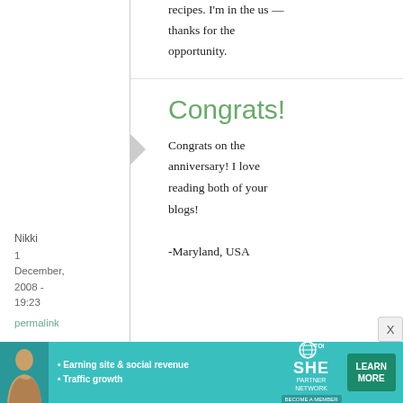recipes. I'm in the us — thanks for the opportunity.
Nikki
1 December, 2008 - 19:23
permalink
Congrats!
Congrats on the anniversary! I love reading both of your blogs!

-Maryland, USA
[Figure (infographic): SHE Partner Network advertisement banner with person photo, bullet points 'Earning site & social revenue' and 'Traffic growth', SHE logo, and LEARN MORE button]